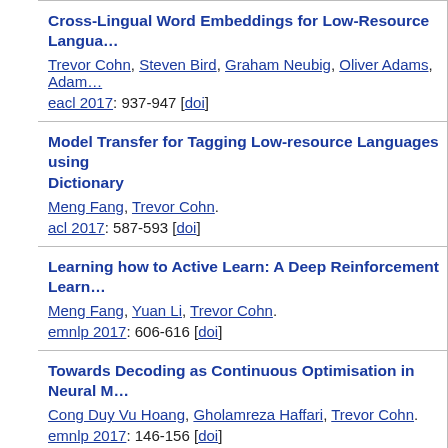Cross-Lingual Word Embeddings for Low-Resource Langua… Trevor Cohn, Steven Bird, Graham Neubig, Oliver Adams, Adam… eacl 2017: 937-947 [doi]
Model Transfer for Tagging Low-resource Languages using Dictionary. Meng Fang, Trevor Cohn. acl 2017: 587-593 [doi]
Learning how to Active Learn: A Deep Reinforcement Learn… Meng Fang, Yuan Li, Trevor Cohn. emnlp 2017: 606-616 [doi]
Towards Decoding as Continuous Optimisation in Neural M… Cong Duy Vu Hoang, Gholamreza Haffari, Trevor Cohn. emnlp 2017: 146-156 [doi]
Multilingual Training of Crosslingual Word Embeddings